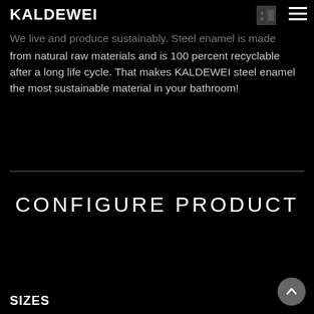KALDEWEI
We live and produce sustainably. Steel enamel is made from natural raw materials and is 100 percent recyclable after a long life cycle. That makes KALDEWEI steel enamel the most sustainable material in your bathroom!
CONFIGURE PRODUCT
SIZES